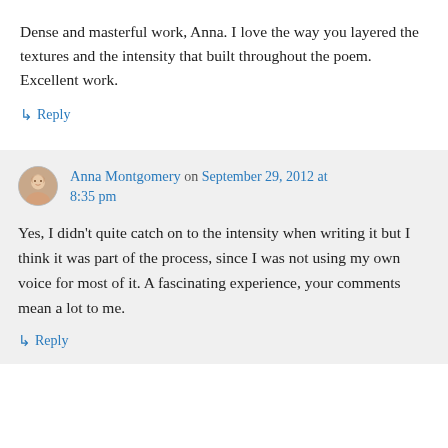Dense and masterful work, Anna. I love the way you layered the textures and the intensity that built throughout the poem. Excellent work.
↳ Reply
Anna Montgomery on September 29, 2012 at 8:35 pm
Yes, I didn't quite catch on to the intensity when writing it but I think it was part of the process, since I was not using my own voice for most of it. A fascinating experience, your comments mean a lot to me.
↳ Reply